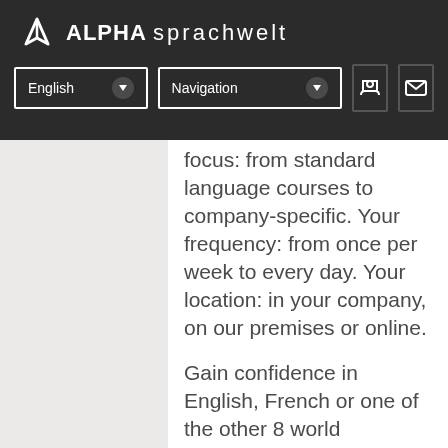ALPHA sprachwelt
focus: from standard language courses to company-specific. Your frequency: from once per week to every day. Your location: in your company, on our premises or online.
Gain confidence in English, French or one of the other 8 world languages and expand your scope of activity.